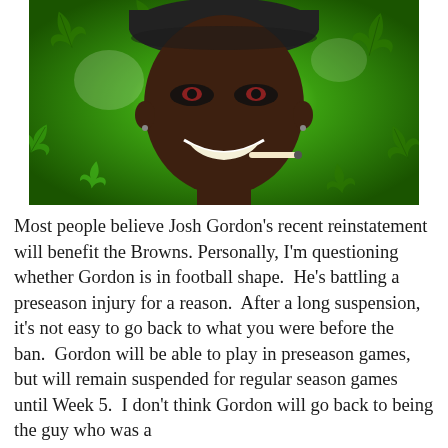[Figure (photo): A photo of a smiling man with eye black on his cheeks, wearing a dark cap, with a cigarette/joint in his mouth, against a green background overlaid with cannabis leaf imagery.]
Most people believe Josh Gordon's recent reinstatement will benefit the Browns. Personally, I'm questioning whether Gordon is in football shape. He's battling a preseason injury for a reason. After a long suspension, it's not easy to go back to what you were before the ban. Gordon will be able to play in preseason games, but will remain suspended for regular season games until Week 5. I don't think Gordon will go back to being the guy who was a